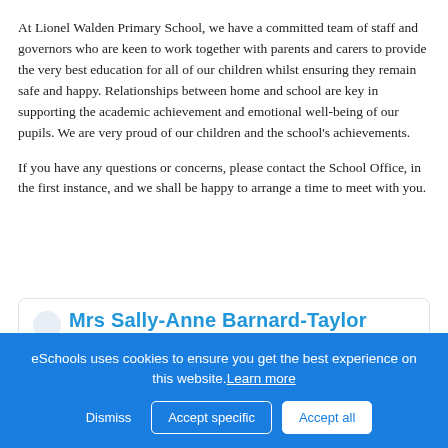At Lionel Walden Primary School, we have a committed team of staff and governors who are keen to work together with parents and carers to provide the very best education for all of our children whilst ensuring they remain safe and happy. Relationships between home and school are key in supporting the academic achievement and emotional well-being of our pupils. We are very proud of our children and the school's achievements.
If you have any questions or concerns, please contact the School Office, in the first instance, and we shall be happy to arrange a time to meet with you.
[Figure (other): Profile card for Mrs Sally-Anne Barnard-Taylor, Headteacher, with a 'Read more...' button]
eSchools uses cookies to ensure you get the best experience on this website. Learn more
Dismiss   Accept specific   Accept all